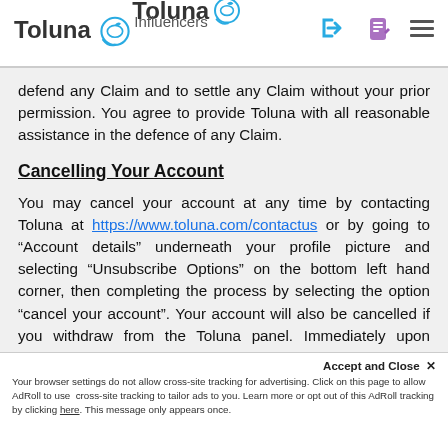Toluna Influencers
defend any Claim and to settle any Claim without your prior permission. You agree to provide Toluna with all reasonable assistance in the defence of any Claim.
Cancelling Your Account
You may cancel your account at any time by contacting Toluna at https://www.toluna.com/contactus or by going to “Account details” underneath your profile picture and selecting “Unsubscribe Options” on the bottom left hand corner, then completing the process by selecting the option “cancel your account”. Your account will also be cancelled if you withdraw from the Toluna panel. Immediately upon deletion or your withdrawal from the Toluna panel, your account will be closed. You understand and a...
Accept and Close × Your browser settings do not allow cross-site tracking for advertising. Click on this page to allow AdRoll to use cross-site tracking to tailor ads to you. Learn more or opt out of this AdRoll tracking by clicking here. This message only appears once.